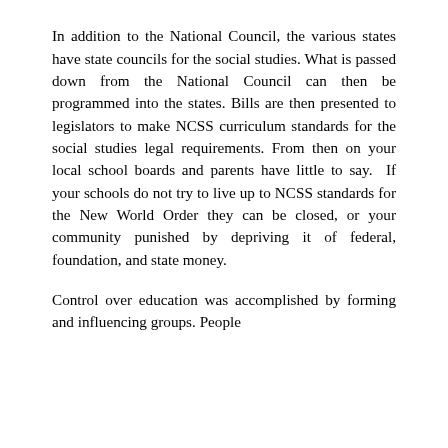In addition to the National Council, the various states have state councils for the social studies. What is passed down from the National Council can then be programmed into the states. Bills are then presented to legislators to make NCSS curriculum standards for the social studies legal requirements. From then on your local school boards and parents have little to say. If your schools do not try to live up to NCSS standards for the New World Order they can be closed, or your community punished by depriving it of federal, foundation, and state money.
Control over education was accomplished by forming and influencing groups. People